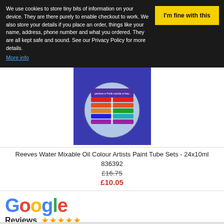We use cookies to store tiny bits of information on your device. They are there purely to enable checkout to work. We also store your details if you place an order, things like your name, address, phone number and what you ordered. They are all kept safe and sound. See our Privacy Policy for more details.
More info
[Figure (photo): Reeves Water Mixable Oil Colour Artists Paint Tube Sets - 24x10ml product image showing paint tubes arranged in a globe/circular display]
Reeves Water Mixable Oil Colour Artists Paint Tube Sets - 24x10ml
836392
£16.75
£10.05
[Figure (logo): Google Reviews logo with 5 star rating]
1.2K people are following this. Be the first of your friends to